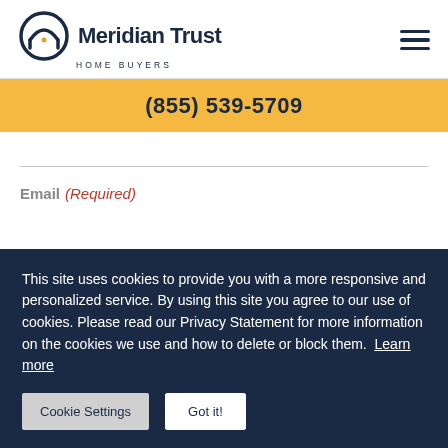[Figure (logo): Meridian Trust Home Buyers logo with house/arch icon and company name]
(855) 539-5709
Email (Required)
This site uses cookies to provide you with a more responsive and personalized service. By using this site you agree to our use of cookies. Please read our Privacy Statement for more information on the cookies we use and how to delete or block them. Learn more
Cookie Settings
Got it!